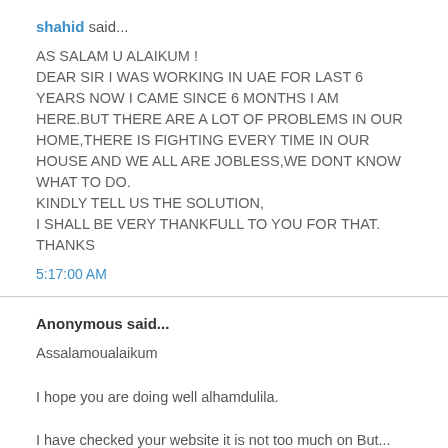shahid said...
AS SALAM U ALAIKUM !
DEAR SIR I WAS WORKING IN UAE FOR LAST 6 YEARS NOW I CAME SINCE 6 MONTHS I AM HERE.BUT THERE ARE A LOT OF PROBLEMS IN OUR HOME,THERE IS FIGHTING EVERY TIME IN OUR HOUSE AND WE ALL ARE JOBLESS,WE DONT KNOW WHAT TO DO.
KINDLY TELL US THE SOLUTION,
I SHALL BE VERY THANKFULL TO YOU FOR THAT.
THANKS
5:17:00 AM
Anonymous said...
Assalamoualaikum

I hope you are doing well alhamdulila.

I have checked your website it is not too much on But...